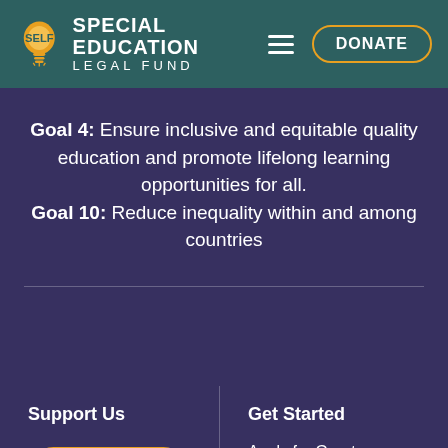SPECIAL EDUCATION LEGAL FUND
Goal 4: Ensure inclusive and equitable quality education and promote lifelong learning opportunities for all.
Goal 10: Reduce inequality within and among countries
Support Us
DONATE
Get Started
Apply for Grant
Proyecto
Contact